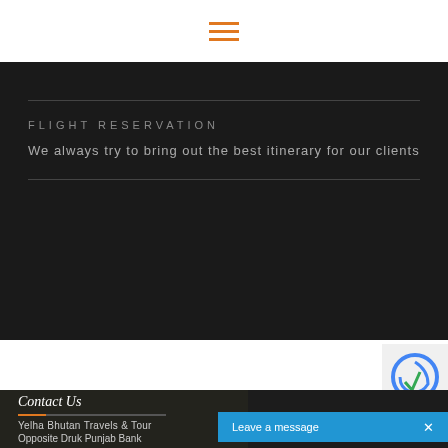[Figure (other): Hamburger menu icon with three orange horizontal lines on white background]
FLIGHT RESERVATION
We always try to bring out the best itinerary for our clients
Contact Us
Yelha Bhutan Travels & Tour
Opposite Druk Punjab Bank
Leave a message